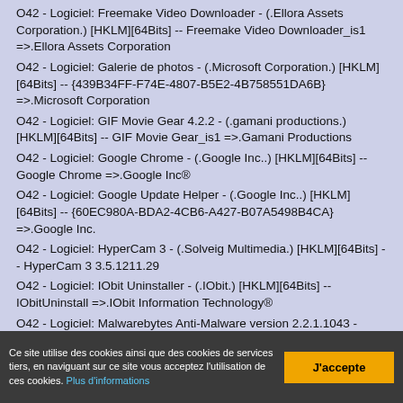O42 - Logiciel: Freemake Video Downloader - (.Ellora Assets Corporation.) [HKLM][64Bits] -- Freemake Video Downloader_is1 =>.Ellora Assets Corporation
O42 - Logiciel: Galerie de photos - (.Microsoft Corporation.) [HKLM][64Bits] -- {439B34FF-F74E-4807-B5E2-4B758551DA6B} =>.Microsoft Corporation
O42 - Logiciel: GIF Movie Gear 4.2.2 - (.gamani productions.) [HKLM][64Bits] -- GIF Movie Gear_is1 =>.Gamani Productions
O42 - Logiciel: Google Chrome - (.Google Inc..) [HKLM][64Bits] -- Google Chrome =>.Google Inc®
O42 - Logiciel: Google Update Helper - (.Google Inc..) [HKLM][64Bits] -- {60EC980A-BDA2-4CB6-A427-B07A5498B4CA} =>.Google Inc.
O42 - Logiciel: HyperCam 3 - (.Solveig Multimedia.) [HKLM][64Bits] -- HyperCam 3 3.5.1211.29
O42 - Logiciel: IObit Uninstaller - (.IObit.) [HKLM][64Bits] -- IObitUninstall =>.IObit Information Technology®
O42 - Logiciel: Malwarebytes Anti-Malware version 2.2.1.1043 - (.Malwarebytes.) [HKLM][64Bits] -- Malwarebytes Anti-
Ce site utilise des cookies ainsi que des cookies de services tiers, en naviguant sur ce site vous acceptez l'utilisation de ces cookies. Plus d'informations